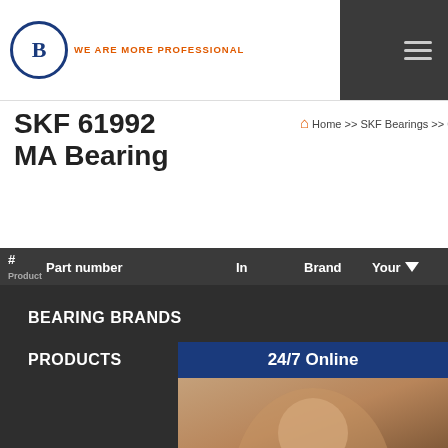B WE ARE MORE PROFESSIONAL
SKF 61992 MA Bearing
Home >> SKF Bearings >> 61992 MA bearing
| # | Part number | In | Brand | Your |
| --- | --- | --- | --- | --- |
| 2 | NU 2302 ECMA | 120 |  | Add to List |
| 3 | 23992 CAK/W33 + OH 3992 H | 196 |  | Add to List |
| 4 | NJ 2232 ECMA | 128 |  | Add to List |
| 5 | NU 2322 ECMA | 160 |  | Add to List |
| 6 | 22312 EK + AHX 2312 | 142 |  | Add to List |
| 7 | 61932 MA | 119 | SKF | Add to List |
| 8 | 61952 MA | 117 | SKF | Add to List |
BEARING BRANDS
PRODUCTS
24/7 Online
Have any requests, click here.
Quotation